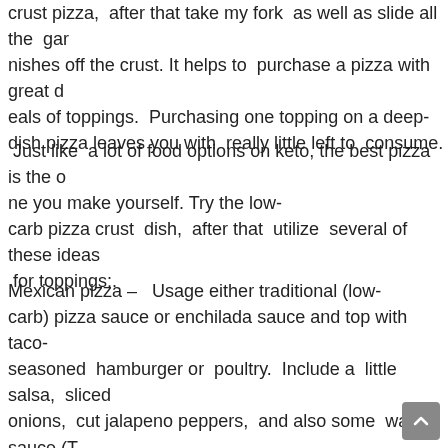crust pizza, after that take my fork as well as slide all the garnishes off the crust. It helps to purchase a pizza with great deals of toppings. Purchasing one topping on a deep-dish pizza leaves you with really little left to consume.
Just like a lot of food options on keto, the best pizza is the one you make yourself. Try the low-carb pizza crust dish, after that utilize several of these ideas for toppings:.
Mexican pizza – Usage either traditional (low-carb) pizza sauce or enchilada sauce and top with taco-seasoned hamburger or poultry. Include a little salsa, sliced onions, cut jalapeno peppers, and also some warm sauce (Taco Bell warm sauce is the most affordable in carbohydr...